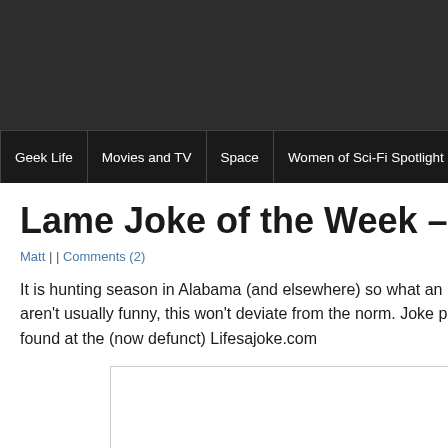Geek Life | Movies and TV | Space | Women of Sci-Fi Spotlight | Gaming | Scier
Lame Joke of the Week – Nerd
Matt | | Comments (2)
It is hunting season in Alabama (and elsewhere) so what an aren't usually funny, this won't deviate from the norm. Joke p found at the (now defunct) Lifesajoke.com